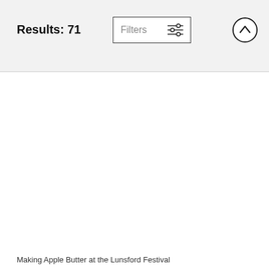Results: 71
Filters
Making Apple Butter at the Lunsford Festival